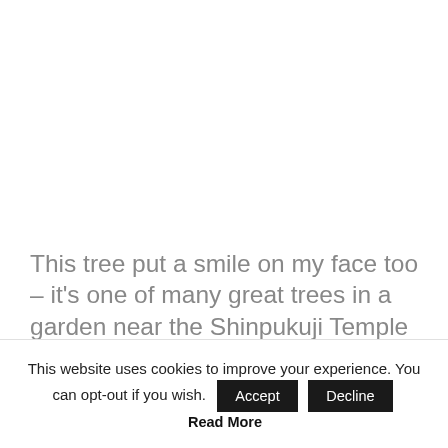This tree put a smile on my face too – it's one of many great trees in a garden near the Shinpukuji Temple in Okazaki. The owner of this collection has shown at least one tree in each in Kokufu bonsai
This website uses cookies to improve your experience. You can opt-out if you wish. Accept Decline Read More